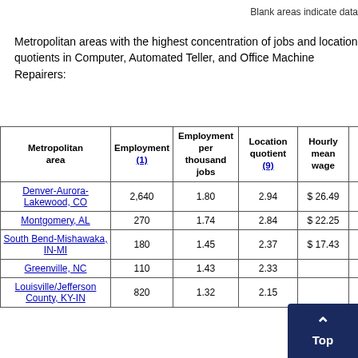Blank areas indicate data
Metropolitan areas with the highest concentration of jobs and location quotients in Computer, Automated Teller, and Office Machine Repairers:
| Metropolitan area | Employment (1) | Employment per thousand jobs | Location quotient (9) | Hourly mean wage | Ann m wa ( |
| --- | --- | --- | --- | --- | --- |
| Denver-Aurora-Lakewood, CO | 2,640 | 1.80 | 2.94 | $ 26.49 | 55, |
| Montgomery, AL | 270 | 1.74 | 2.84 | $ 22.25 | 46, |
| South Bend-Mishawaka, IN-MI | 180 | 1.45 | 2.37 | $ 17.43 | 36, |
| Greenville, NC | 110 | 1.43 | 2.33 |  |  |
| Louisville/Jefferson County, KY-IN | 820 | 1.32 | 2.15 |  | 39, |